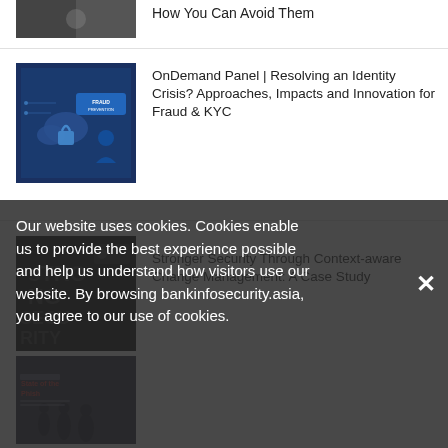[Figure (photo): Partial thumbnail of cybersecurity image at top (cropped)]
How You Can Avoid Them
[Figure (photo): Thumbnail showing cybersecurity / fraud prevention concept with blue digital icons and 'FRAUD PREVENTION' text]
OnDemand Panel | Resolving an Identity Crisis? Approaches, Impacts and Innovation for Fraud & KYC
[Figure (photo): Dark thumbnail with 'STRONG SECURITY' text overlay]
Stronger Security Through Context-aware Change Management: A Case Study
Our website uses cookies. Cookies enable us to provide the best experience possible and help us understand how visitors use our website. By browsing bankinfosecurity.asia, you agree to our use of cookies.
[Figure (photo): Thumbnail for '2020 State of the Phish Report' with dark background and silhouetted figures]
2020 State of the Phish Report